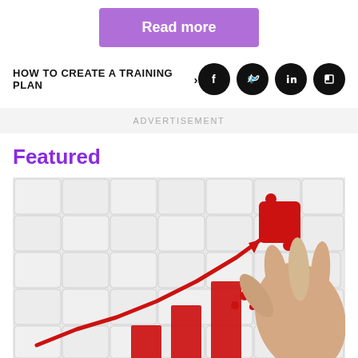Read more
HOW TO CREATE A TRAINING PLAN ›
[Figure (other): Social media icons: Facebook, Twitter, LinkedIn, Flipboard]
ADVERTISEMENT
Featured
[Figure (photo): Puzzle pieces arranged with red bar chart and an upward-trending red arrow line graph; a hand holds a red puzzle piece at the top right, symbolizing growth and training/learning completion.]